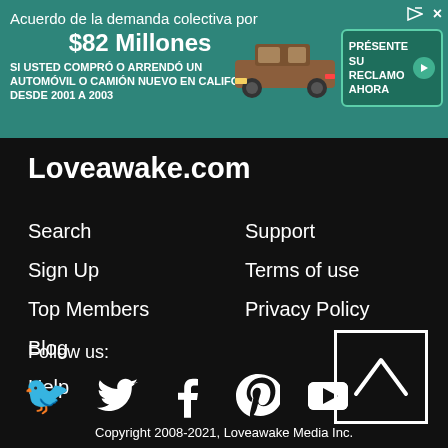[Figure (infographic): Spanish-language class action settlement advertisement banner. Green background with text about $82 million automobile settlement in California 2001-2003, image of brown pickup truck, and green 'PRÉSENTE SU RECLAMO AHORA' button]
Loveawake.com
Search
Sign Up
Top Members
Blog
Help
Support
Terms of use
Privacy Policy
Follow us:
[Figure (infographic): Social media icons: Twitter bird, Facebook f, Pinterest P, YouTube play button — white on black background]
[Figure (infographic): Back to top button: white square outline with upward-pointing chevron arrow]
Copyright 2008-2021, Loveawake Media Inc.